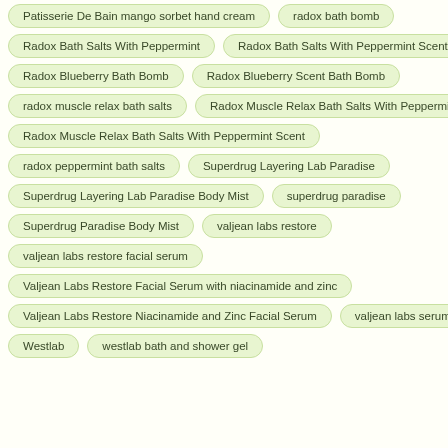Patisserie De Bain mango sorbet hand cream
radox bath bomb
Radox Bath Salts With Peppermint
Radox Bath Salts With Peppermint Scent
Radox Blueberry Bath Bomb
Radox Blueberry Scent Bath Bomb
radox muscle relax bath salts
Radox Muscle Relax Bath Salts With Peppermint
Radox Muscle Relax Bath Salts With Peppermint Scent
radox peppermint bath salts
Superdrug Layering Lab Paradise
Superdrug Layering Lab Paradise Body Mist
superdrug paradise
Superdrug Paradise Body Mist
valjean labs restore
valjean labs restore facial serum
Valjean Labs Restore Facial Serum with niacinamide and zinc
Valjean Labs Restore Niacinamide and Zinc Facial Serum
valjean labs serum
Westlab
westlab bath and shower gel